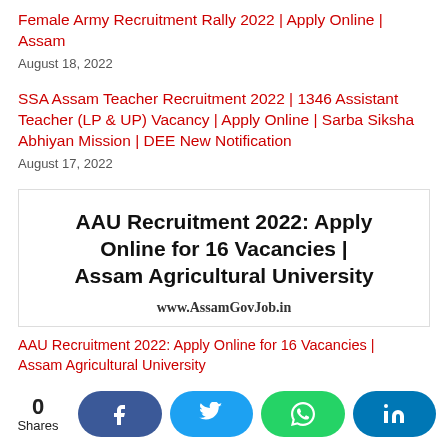Female Army Recruitment Rally 2022 | Apply Online | Assam
August 18, 2022
SSA Assam Teacher Recruitment 2022 | 1346 Assistant Teacher (LP & UP) Vacancy | Apply Online | Sarba Siksha Abhiyan Mission | DEE New Notification
August 17, 2022
[Figure (infographic): AAU Recruitment 2022: Apply Online for 16 Vacancies | Assam Agricultural University — promotional image with title text and www.AssamGovJob.in watermark]
AAU Recruitment 2022: Apply Online for 16 Vacancies | Assam Agricultural University
August 5, 202...
0 Shares | Facebook | Twitter | WhatsApp | LinkedIn